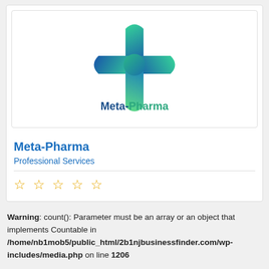[Figure (logo): Meta-Pharma logo: a medical cross shape made of green and blue curved segments, with 'Meta-Pharma' text below in dark blue and teal colors]
Meta-Pharma
Professional Services
☆ ☆ ☆ ☆ ☆
Warning: count(): Parameter must be an array or an object that implements Countable in /home/nb1mob5/public_html/2b1njbusinessfinder.com/wp-includes/media.php on line 1206
[Figure (photo): City Auto Center banner with red text on dark background]